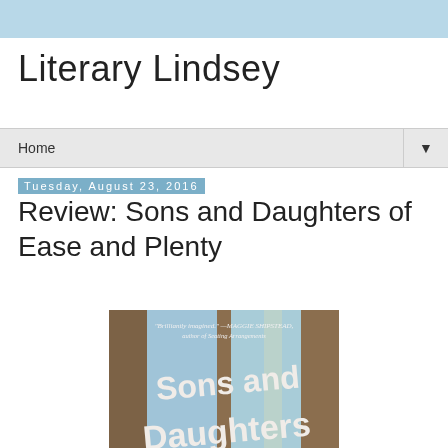Literary Lindsey
Home
Tuesday, August 23, 2016
Review: Sons and Daughters of Ease and Plenty
[Figure (photo): Book cover of 'Sons and Daughters of Ease and Plenty' showing painted wooden window frame with blue sky background and white hand-lettered title text. Top has quote: 'Brilliantly imagined.' —Maggie Shipstead, author of Seating Arrangements]